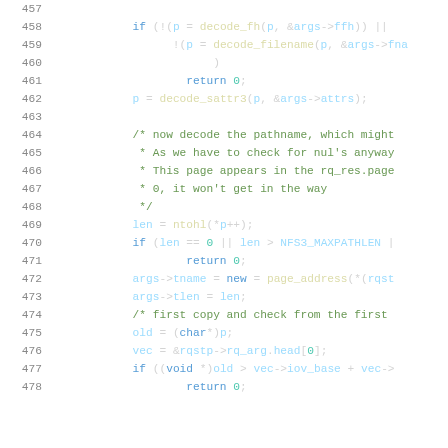[Figure (screenshot): Source code listing in a dark-themed code editor showing C kernel code lines 457-478, with syntax highlighting: line numbers in gray, keywords in blue, function names in yellow, variables in light blue, comments in green, numeric literals in teal.]